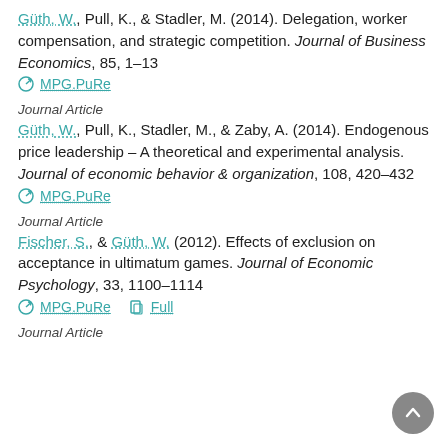Güth, W., Pull, K., & Stadler, M. (2014). Delegation, worker compensation, and strategic competition. Journal of Business Economics, 85, 1–13
MPG.PuRe
Journal Article
Güth, W., Pull, K., Stadler, M., & Zaby, A. (2014). Endogenous price leadership – A theoretical and experimental analysis. Journal of economic behavior & organization, 108, 420–432
MPG.PuRe
Journal Article
Fischer, S., & Güth, W. (2012). Effects of exclusion on acceptance in ultimatum games. Journal of Economic Psychology, 33, 1100–1114
MPG.PuRe  Full
Journal Article